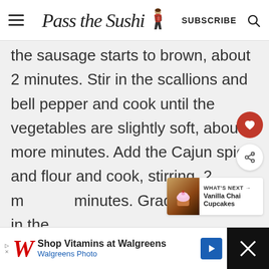Pass the Sushi — SUBSCRIBE
the sausage starts to brown, about 2 minutes. Stir in the scallions and bell pepper and cook until the vegetables are slightly soft, about 3 more minutes. Add the Cajun spice and flour and cook, stirring, 2 minutes. Gradually whisk in the
[Figure (screenshot): What's Next promo card for Vanilla Chai Cupcakes with cupcake thumbnail]
[Figure (infographic): Walgreens advertisement banner: Shop Vitamins at Walgreens / Walgreens Photo]